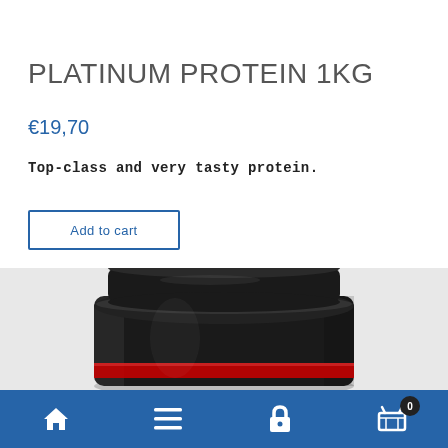PLATINUM PROTEIN 1KG
€19,70
Top-class and very tasty protein.
Add to cart
[Figure (photo): Black protein supplement container/tub photographed from above at an angle, showing the lid and upper body of the container. A red label stripe is partially visible.]
Navigation bar with home, menu, account/lock, and cart (0) icons on blue background